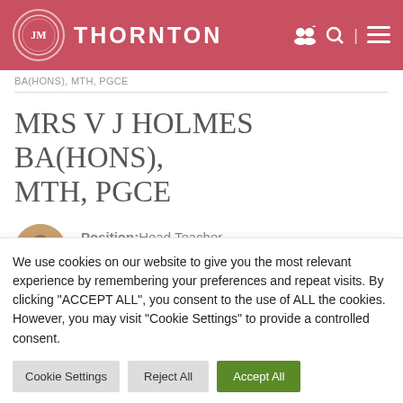THORNTON
BA(HONS), MTH, PGCE
MRS V J HOLMES BA(HONS), MTH, PGCE
Position: Head Teacher
We use cookies on our website to give you the most relevant experience by remembering your preferences and repeat visits. By clicking “ACCEPT ALL”, you consent to the use of ALL the cookies. However, you may visit "Cookie Settings" to provide a controlled consent.